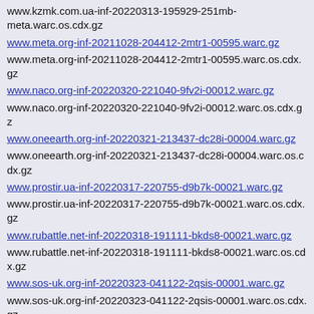www.kzmk.com.ua-inf-20220313-195929-251mb-meta.warc.os.cdx.gz
www.meta.org-inf-20211028-204412-2mtr1-00595.warc.gz
www.meta.org-inf-20211028-204412-2mtr1-00595.warc.os.cdx.gz
www.naco.org-inf-20220320-221040-9fv2i-00012.warc.gz
www.naco.org-inf-20220320-221040-9fv2i-00012.warc.os.cdx.gz
www.oneearth.org-inf-20220321-213437-dc28i-00004.warc.gz
www.oneearth.org-inf-20220321-213437-dc28i-00004.warc.os.cdx.gz
www.prostir.ua-inf-20220317-220755-d9b7k-00021.warc.gz
www.prostir.ua-inf-20220317-220755-d9b7k-00021.warc.os.cdx.gz
www.rubattle.net-inf-20220318-191111-bkds8-00021.warc.gz
www.rubattle.net-inf-20220318-191111-bkds8-00021.warc.os.cdx.gz
www.sos-uk.org-inf-20220323-041122-2qsis-00001.warc.gz
www.sos-uk.org-inf-20220323-041122-2qsis-00001.warc.os.cdx.gz